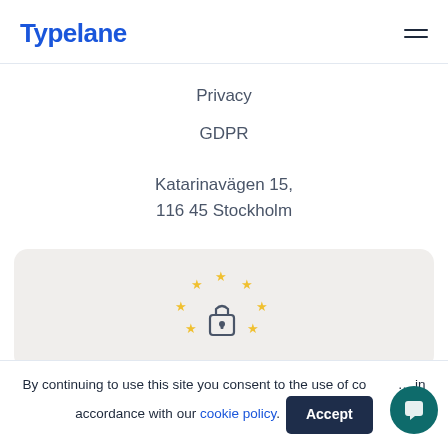Typelane
Privacy
GDPR
Katarinavägen 15,
116 45 Stockholm
[Figure (illustration): EU flag stars arranged in a semicircle above a padlock icon, representing GDPR/data protection]
By continuing to use this site you consent to the use of cookies in accordance with our cookie policy.